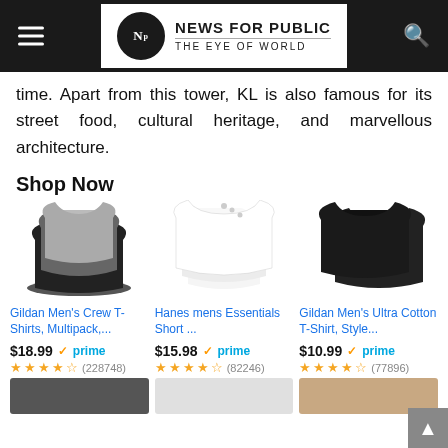NEWS FOR PUBLIC — THE EYE OF WORLD
time. Apart from this tower, KL is also famous for its street food, cultural heritage, and marvellous architecture.
Shop Now
[Figure (photo): Gildan Men's Crew T-Shirts multipack in black, gray, and white]
Gildan Men's Crew T-Shirts, Multipack,...
$18.99 ✓prime ★★★★½ (228748)
[Figure (photo): Hanes mens Essentials Short Sleeve T-shirts in white]
Hanes mens Essentials Short ...
$15.98 ✓prime ★★★★½ (82246)
[Figure (photo): Gildan Men's Ultra Cotton T-Shirt in black, two shirts]
Gildan Men's Ultra Cotton T-Shirt, Style...
$10.99 ✓prime ★★★★½ (77896)